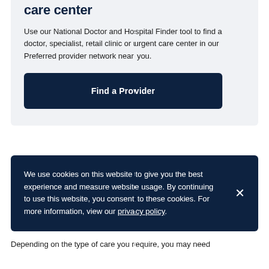care center
Use our National Doctor and Hospital Finder tool to find a doctor, specialist, retail clinic or urgent care center in our Preferred provider network near you.
[Figure (other): Dark navy blue button labeled 'Find a Provider']
We use cookies on this website to give you the best experience and measure website usage. By continuing to use this website, you consent to these cookies. For more information, view our privacy policy.
Depending on the type of care you require, you may need